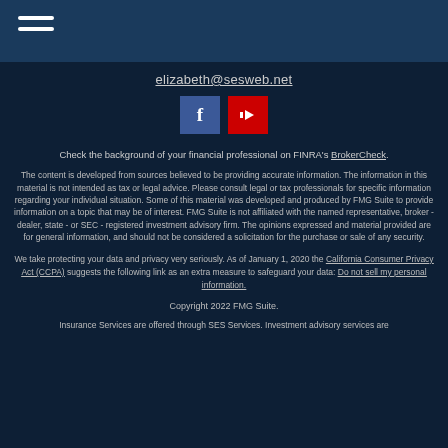Navigation header with hamburger menu
elizabeth@sesweb.net
[Figure (other): Social media icons: Facebook (blue) and YouTube (red)]
Check the background of your financial professional on FINRA's BrokerCheck.
The content is developed from sources believed to be providing accurate information. The information in this material is not intended as tax or legal advice. Please consult legal or tax professionals for specific information regarding your individual situation. Some of this material was developed and produced by FMG Suite to provide information on a topic that may be of interest. FMG Suite is not affiliated with the named representative, broker - dealer, state - or SEC - registered investment advisory firm. The opinions expressed and material provided are for general information, and should not be considered a solicitation for the purchase or sale of any security.
We take protecting your data and privacy very seriously. As of January 1, 2020 the California Consumer Privacy Act (CCPA) suggests the following link as an extra measure to safeguard your data: Do not sell my personal information.
Copyright 2022 FMG Suite.
Insurance Services are offered through SES Services. Investment advisory services are